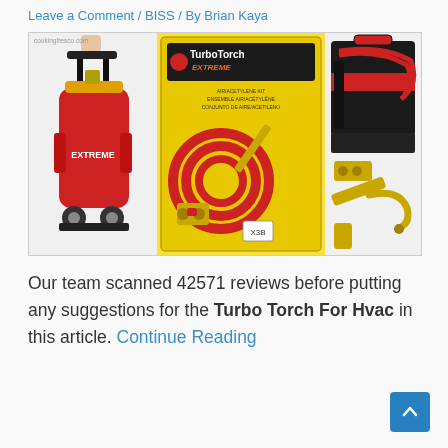Leave a Comment / BISS / By Brian Kaya
[Figure (photo): Three product images of TurboTorch HVAC torch kits: a red portable tank on a trolley, a TurboTorch Extreme air/acetylene kit in packaging, and a torch kit bag with accessories.]
Our team scanned 42571 reviews before putting any suggestions for the Turbo Torch For Hvac in this article. Continue Reading